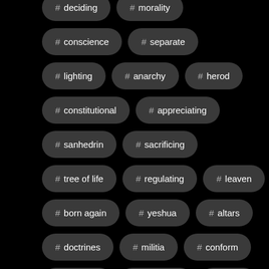# deciding
# morality
# conscience
# separate
# lighting
# anarchy
# herod
# constitutional
# appreciating
# sanhedrin
# sacrificing
# tree of life
# regulating
# leaven
# born again
# yeshua
# altars
# doctrines
# militia
# conform
# caiaphas
# deserving
# harlot